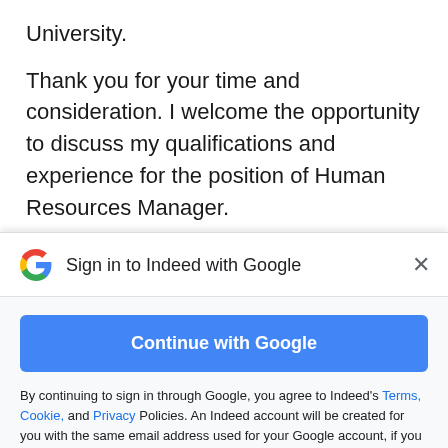University.
Thank you for your time and consideration. I welcome the opportunity to discuss my qualifications and experience for the position of Human Resources Manager.
Sincerely,
[Figure (screenshot): Google sign-in modal overlay with 'Sign in to Indeed with Google' header, Google 'G' logo, close X button, 'Continue with Google' blue button, and disclaimer text about Terms, Cookie, and Privacy Policies.]